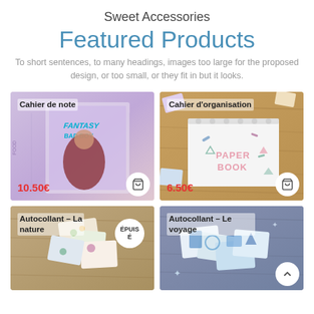Sweet Accessories
Featured Products
To short sentences, to many headings, images too large for the proposed design, or too small, or they fit in but it looks.
[Figure (photo): Product card: Cahier de note, fantasy bad boy notebook, price 10.50€, with cart icon]
[Figure (photo): Product card: Cahier d'organisation, paper book spiral notebook, price 6.50€, with cart icon]
[Figure (photo): Product card: Autocollant - La nature, stickers, badge ÉPUISÉ]
[Figure (photo): Product card: Autocollant - Le voyage, stickers, with back-to-top arrow icon]